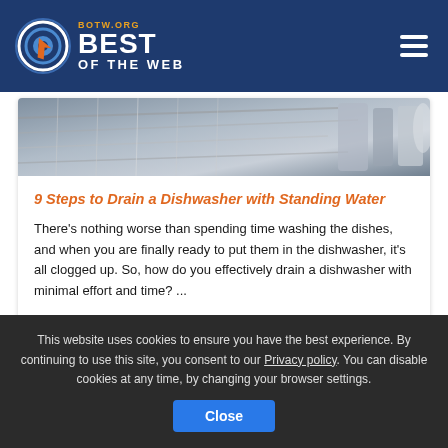Best of the Web – BOTW.ORG
[Figure (photo): Close-up photo of dishwasher racks interior, silverware and dish rack visible]
9 Steps to Drain a Dishwasher with Standing Water
There's nothing worse than spending time washing the dishes, and when you are finally ready to put them in the dishwasher, it's all clogged up. So, how do you effectively drain a dishwasher with minimal effort and time? ...
This website uses cookies to ensure you have the best experience. By continuing to use this site, you consent to our Privacy policy. You can disable cookies at any time, by changing your browser settings. Close